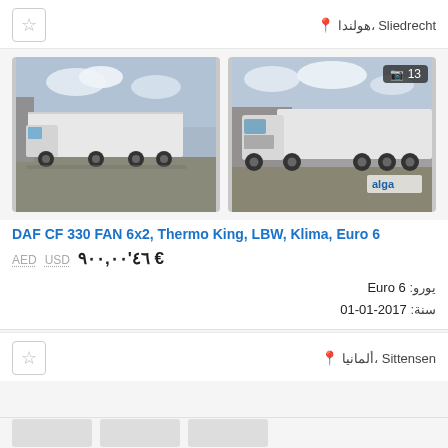هولندا، Sliedrecht
[Figure (photo): Two photos of a DAF CF 330 white refrigerated truck with box trailer, side view, parked in a yard. Right image has a photo count badge showing camera icon and 13.]
DAF CF 330 FAN 6x2, Thermo King, LBW, Klima, Euro 6
€ ٤٦'٩٠٠,٠٠   USD   AED
يورو: Euro 6
سنة: 2017-01-01
ألمانيا، Sittensen